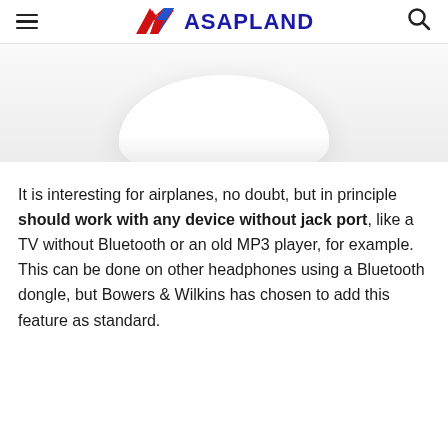ASAPLAND
[Figure (photo): Partial view of white wireless earbuds/headphones on a light grey background, cropped at the top]
It is interesting for airplanes, no doubt, but in principle should work with any device without jack port, like a TV without Bluetooth or an old MP3 player, for example. This can be done on other headphones using a Bluetooth dongle, but Bowers & Wilkins has chosen to add this feature as standard.